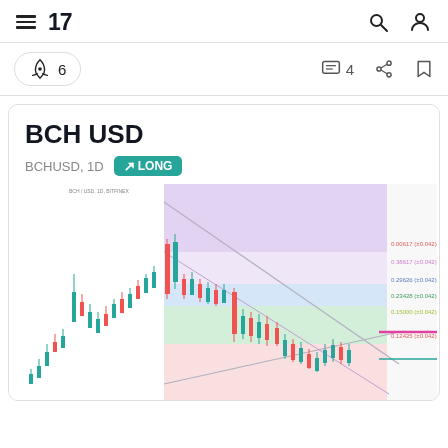TradingView navigation header with hamburger menu, logo, search and profile icons
6 (boost) | 4 (comments) | share | bookmark
BCH USD
BCHUSD, 1D  LONG
[Figure (screenshot): BCH USD daily candlestick chart with color-coded horizontal support/resistance zones (purple, lavender, blue, green, pink/red) and diagonal trendlines showing price action with a long trade setup on BCHUSD 1D timeframe.]